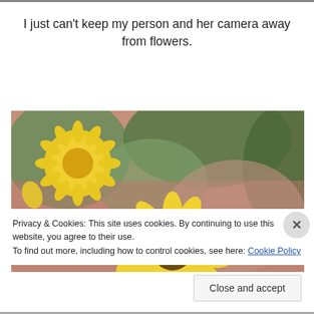I just can't keep my person and her camera away from flowers.
[Figure (photo): Close-up photograph of yellow flowers (sunflower-like and round chrysanthemum-type blooms) with green foliage and blurred pink/earthy background.]
Privacy & Cookies: This site uses cookies. By continuing to use this website, you agree to their use.
To find out more, including how to control cookies, see here: Cookie Policy
Close and accept